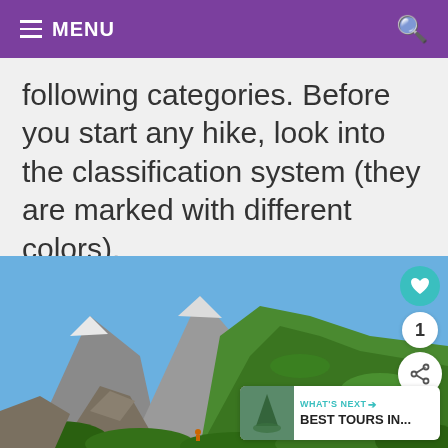≡ MENU
following categories. Before you start any hike, look into the classification system (they are marked with different colors).
[Figure (photo): Mountain landscape with steep rocky hillside covered in green vegetation, blue sky, and snow-capped peaks in the background. A trail is visible at the bottom with a person hiking.]